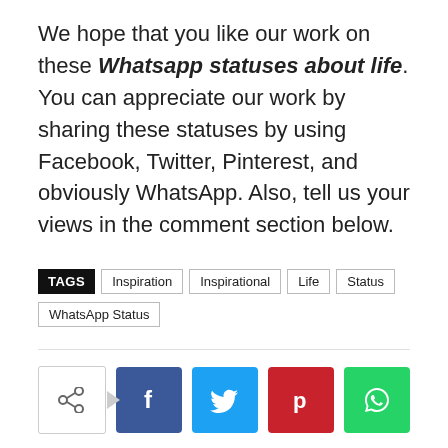We hope that you like our work on these Whatsapp statuses about life. You can appreciate our work by sharing these statuses by using Facebook, Twitter, Pinterest, and obviously WhatsApp. Also, tell us your views in the comment section below.
TAGS  Inspiration  Inspirational  Life  Status  WhatsApp Status
[Figure (other): Social share buttons: share icon with arrow, Facebook (f), Twitter (bird), Pinterest (p), WhatsApp (phone) buttons]
RELATED ARTICLES